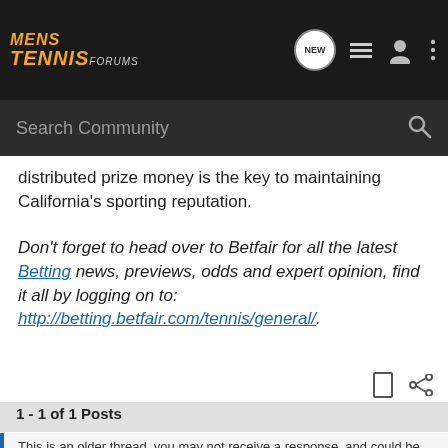Mens Tennis Forums
distributed prize money is the key to maintaining California's sporting reputation.
Don't forget to head over to Betfair for all the latest Betting news, previews, odds and expert opinion, find it all by logging on to: http://betting.betfair.com/tennis/general/.
1 - 1 of 1 Posts
This is an older thread, you may not receive a response, and could be reviving an old thread. Please consider creating a new thread.